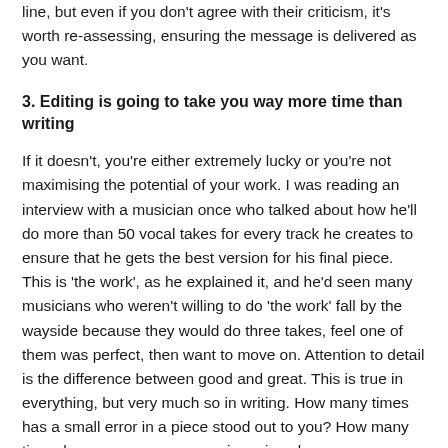line, but even if you don't agree with their criticism, it's worth re-assessing, ensuring the message is delivered as you want.
3. Editing is going to take you way more time than writing
If it doesn't, you're either extremely lucky or you're not maximising the potential of your work. I was reading an interview with a musician once who talked about how he'll do more than 50 vocal takes for every track he creates to ensure that he gets the best version for his final piece. This is 'the work', as he explained it, and he'd seen many musicians who weren't willing to do 'the work' fall by the wayside because they would do three takes, feel one of them was perfect, then want to move on. Attention to detail is the difference between good and great. This is true in everything, but very much so in writing. How many times has a small error in a piece stood out to you? How many times have you seen an error in a piece by an accomplished writer? Attention to detail is a sign of professionalism, and while people can get over a minor mistake here or there (everyone makes them, I probably have in this post), you don't want to give your readers anything that could divert their attention from the piece. A small mistake is like a bump in the road, it can distract you from the main narrative momentarily. Too many bumps, and they become the narrative